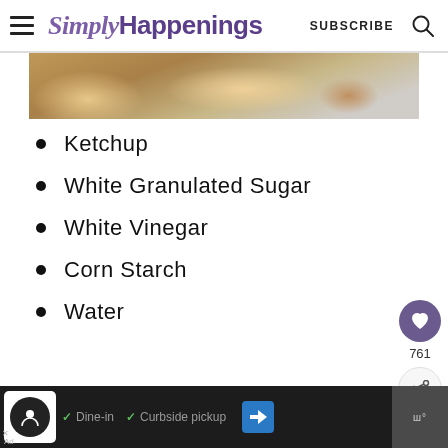SimplyHappenings — SUBSCRIBE
[Figure (photo): Close-up food photo showing a dish, partially visible at top of page]
Ketchup
White Granulated Sugar
White Vinegar
Corn Starch
Water
Ad • Dine-in • Curbside pickup